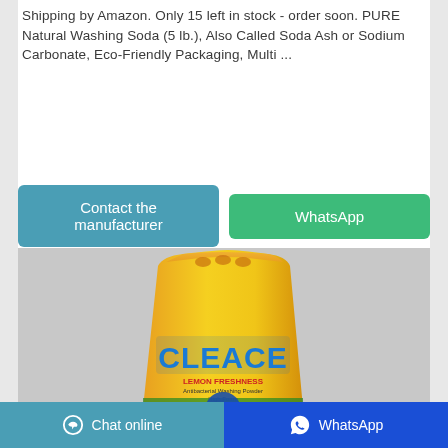Shipping by Amazon. Only 15 left in stock - order soon. PURE Natural Washing Soda (5 lb.), Also Called Soda Ash or Sodium Carbonate, Eco-Friendly Packaging, Multi ...
[Figure (other): Two buttons side by side: 'Contact the manufacturer' (teal/blue) and 'WhatsApp' (green)]
[Figure (photo): Product photo of a yellow bag of CLEACE Lemon Freshness washing powder on a grey background]
[Figure (other): Footer bar with two buttons: 'Chat online' (teal, with chat icon) on the left and 'WhatsApp' (blue, with WhatsApp icon) on the right]